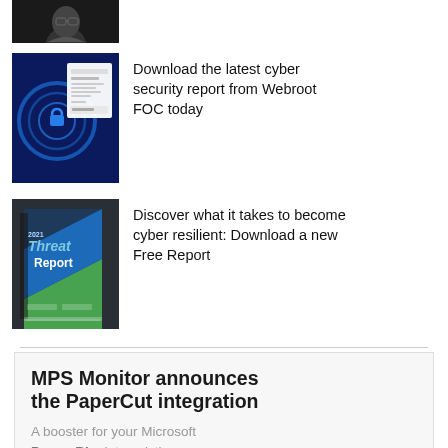[Figure (photo): Partial photo of a person (top of head/shoulders), black and white, dark background, person appears to be wearing glasses]
[Figure (screenshot): Blue cybersecurity themed image showing a Webroot FOC report cover with circular digital lock graphic and document preview]
Download the latest cyber security report from Webroot FOC today
[Figure (photo): 2021 Threat Report book cover with blue and green diagonal design, Webroot branding]
Discover what it takes to become cyber resilient: Download a new Free Report
[Figure (infographic): MPS Monitor advertisement announcing the PaperCut integration. Text: MPS Monitor announces the PaperCut integration. A booster for your Microsoft Power BI print analytics. Green geometric shapes and printer illustration at bottom.]